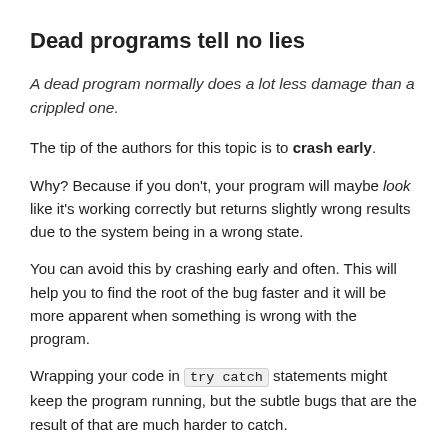Dead programs tell no lies
A dead program normally does a lot less damage than a crippled one.
The tip of the authors for this topic is to crash early.
Why? Because if you don't, your program will maybe look like it's working correctly but returns slightly wrong results due to the system being in a wrong state.
You can avoid this by crashing early and often. This will help you to find the root of the bug faster and it will be more apparent when something is wrong with the program.
Wrapping your code in try catch statements might keep the program running, but the subtle bugs that are the result of that are much harder to catch.